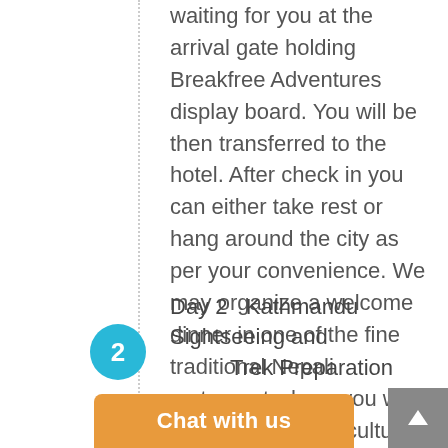waiting for you at the arrival gate holding Breakfree Adventures display board. You will be then transferred to the hotel. After check in you can either take rest or hang around the city as per your convenience. We may organize a welcome dinner in one of the fine traditional Nepali restaurant where you will enjoy a Nepalese cultural program with a fine meal. Overnight at the hotel.
Day 2   Kathmandu Sightseeing and Trek Preparation